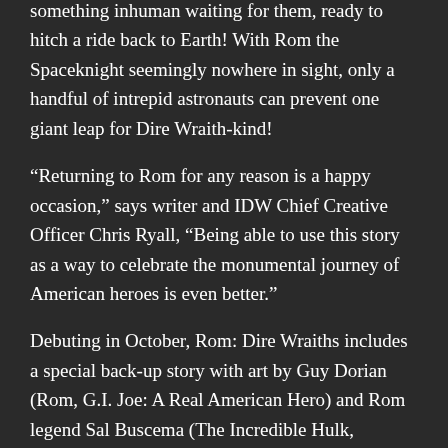something inhuman waiting for them, ready to hitch a ride back to Earth! With Rom the Spaceknight seemingly nowhere in sight, only a handful of intrepid astronauts can prevent one giant leap for Dire Wraith-kind!
“Returning to Rom for any reason is a happy occasion,” says writer and IDW Chief Creative Officer Chris Ryall, “Being able to use this story as a way to celebrate the monumental journey of American heroes is even better.”
Debuting in October, Rom: Dire Wraiths includes a special back-up story with art by Guy Dorian (Rom, G.I. Joe: A Real American Hero) and Rom legend Sal Buscema (The Incredible Hulk, Spectacular Spider-Man), answering the question of where Rom is during the crisis.
Rom: Dire Wraiths #1 will feature variant covers by Luca